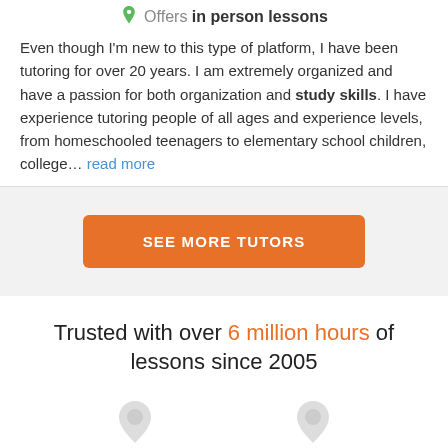Offers in person lessons
Even though I'm new to this type of platform, I have been tutoring for over 20 years. I am extremely organized and have a passion for both organization and study skills. I have experience tutoring people of all ages and experience levels, from homeschooled teenagers to elementary school children, college... read more
SEE MORE TUTORS
Trusted with over 6 million hours of lessons since 2005